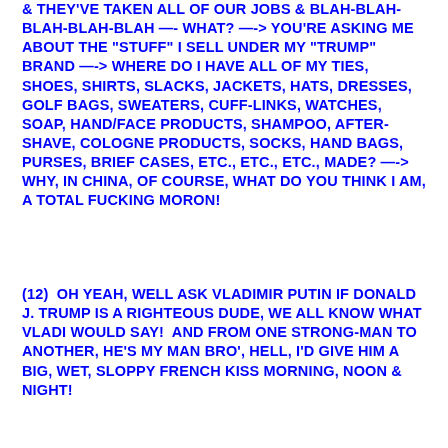& THEY'VE TAKEN ALL OF OUR JOBS & BLAH-BLAH-BLAH-BLAH-BLAH —- WHAT? —-> YOU'RE ASKING ME ABOUT THE "STUFF" I SELL UNDER MY "TRUMP" BRAND —-> WHERE DO I HAVE ALL OF MY TIES, SHOES, SHIRTS, SLACKS, JACKETS, HATS, DRESSES, GOLF BAGS, SWEATERS, CUFF-LINKS, WATCHES, SOAP, HAND/FACE PRODUCTS, SHAMPOO, AFTER-SHAVE, COLOGNE PRODUCTS, SOCKS, HAND BAGS, PURSES, BRIEF CASES, ETC., ETC., ETC., MADE? —-> WHY, IN CHINA, OF COURSE, WHAT DO YOU THINK I AM, A TOTAL FUCKING MORON!
(12)  OH YEAH, WELL ASK VLADIMIR PUTIN IF DONALD J. TRUMP IS A RIGHTEOUS DUDE, WE ALL KNOW WHAT VLADI WOULD SAY!  AND FROM ONE STRONG-MAN TO ANOTHER, HE'S MY MAN BRO', HELL, I'D GIVE HIM A BIG, WET, SLOPPY FRENCH KISS MORNING, NOON & NIGHT!